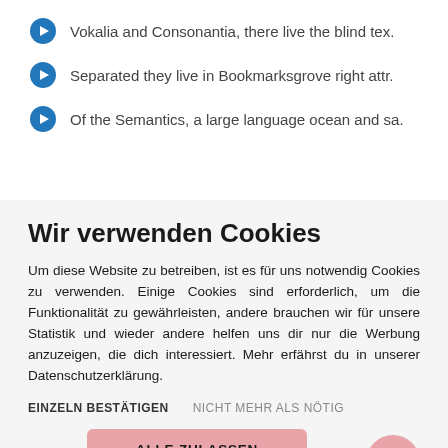Vokalia and Consonantia, there live the blind tex.
Separated they live in Bookmarksgrove right attr.
Of the Semantics, a large language ocean and sa.
Wir verwenden Cookies
Um diese Website zu betreiben, ist es für uns notwendig Cookies zu verwenden. Einige Cookies sind erforderlich, um die Funktionalität zu gewährleisten, andere brauchen wir für unsere Statistik und wieder andere helfen uns dir nur die Werbung anzuzeigen, die dich interessiert. Mehr erfährst du in unserer Datenschutzerklärung.
EINZELN BESTÄTIGEN    NICHT MEHR ALS NÖTIG
ALLE ZULASSEN
Datenschutz | Impressum